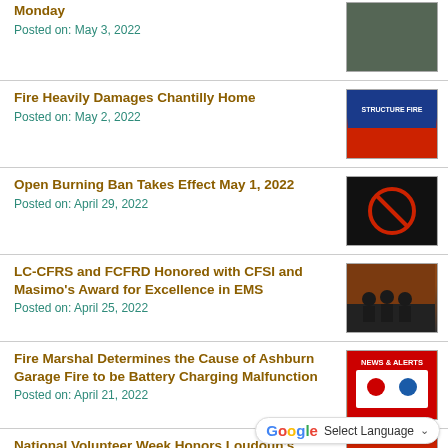Monday
Posted on: May 3, 2022
Fire Heavily Damages Chantilly Home
Posted on: May 2, 2022
Open Burning Ban Takes Effect May 1, 2022
Posted on: April 29, 2022
LC-CFRS and FCFRD Honored with CFSI and Masimo's Award for Excellence in EMS
Posted on: April 25, 2022
Fire Marshal Determines the Cause of Ashburn Garage Fire to be Battery Charging Malfunction
Posted on: April 21, 2022
National Volunteer Week Honors Loudoun's